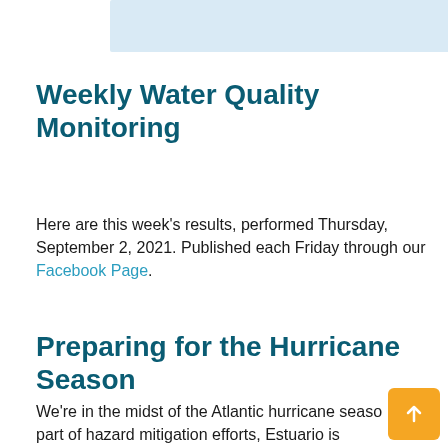[Figure (photo): Partial banner image at top of page, light blue background]
Weekly Water Quality Monitoring
Here are this week's results, performed Thursday, September 2, 2021. Published each Friday through our Facebook Page.
Preparing for the Hurricane Season
We're in the midst of the Atlantic hurricane season, part of hazard mitigation efforts, Estuario is enacting a